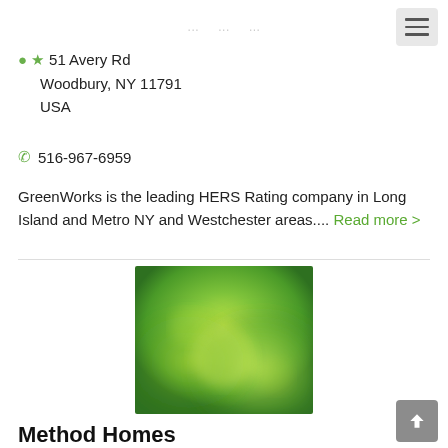hamburger menu icon (navigation)
51 Avery Rd
Woodbury, NY 11791
USA
516-967-6959
GreenWorks is the leading HERS Rating company in Long Island and Metro NY and Westchester areas.... Read more >
[Figure (photo): Blurred green bokeh background image]
Method Homes
☆☆☆☆☆ No Reviews | Write a Review |
Homes & Builders, Top Not Energy — Category...